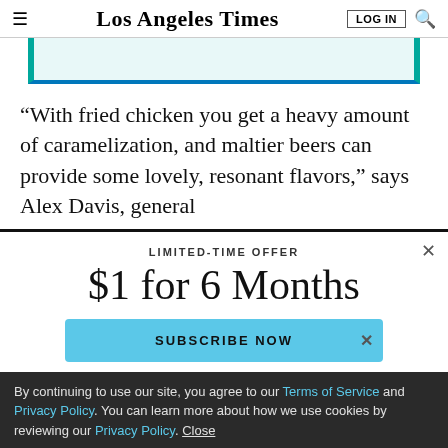Los Angeles Times
[Figure (other): Advertisement banner with teal/blue border]
“With fried chicken you get a heavy amount of caramelization, and maltier beers can provide some lovely, resonant flavors,” says Alex Davis, general
LIMITED-TIME OFFER
$1 for 6 Months
SUBSCRIBE NOW
By continuing to use our site, you agree to our Terms of Service and Privacy Policy. You can learn more about how we use cookies by reviewing our Privacy Policy. Close